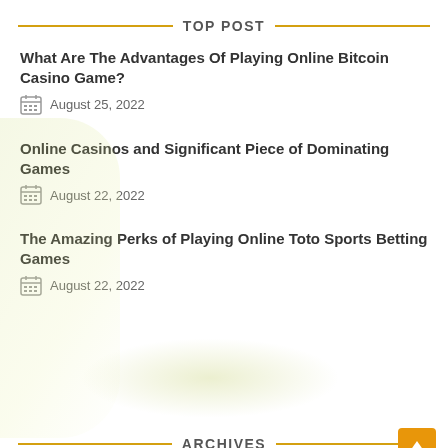TOP POST
What Are The Advantages Of Playing Online Bitcoin Casino Game?
August 25, 2022
Online Casinos and Significant Piece of Dominating Games
August 22, 2022
The Amazing Perks of Playing Online Toto Sports Betting Games
August 22, 2022
ARCHIVES